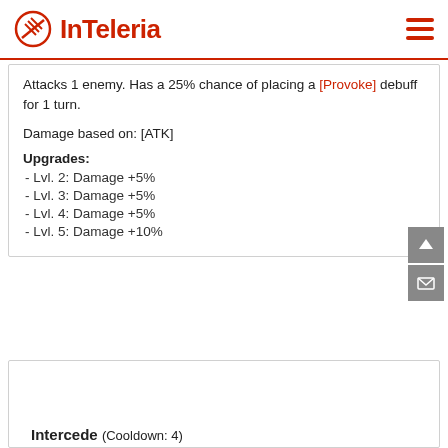InTeleria
Attacks 1 enemy. Has a 25% chance of placing a [Provoke] debuff for 1 turn.
Damage based on: [ATK]
Upgrades:
- Lvl. 2: Damage +5%
- Lvl. 3: Damage +5%
- Lvl. 4: Damage +5%
- Lvl. 5: Damage +10%
Intercede (Cooldown: 4)